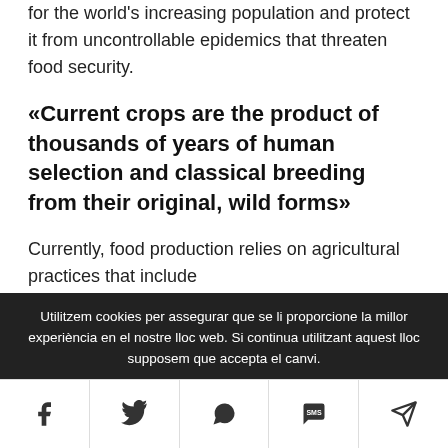for the world's increasing population and protect it from uncontrollable epidemics that threaten food security.
«Current crops are the product of thousands of years of human selection and classical breeding from their original, wild forms»
Currently, food production relies on agricultural practices that include
Utilitzem cookies per assegurar que se li proporcione la millor experiència en el nostre lloc web. Si continua utilitzant aquest lloc supposem que accepta el canvi.
[Figure (other): Social sharing bar with icons for Facebook, Twitter, WhatsApp, SMS, and direct message/Telegram]